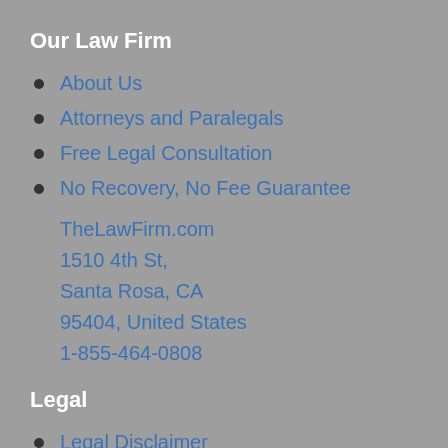Our Law Firm
About Us
Attorneys and Paralegals
Free Legal Consultation
No Recovery, No Fee Guarantee
TheLawFirm.com
1510 4th St,
Santa Rosa, CA
95404, United States
1-855-464-0808
Legal
Legal Disclaimer
Terms
Privacy Policy
Site...